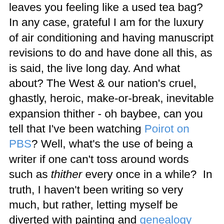leaves you feeling like a used tea bag? In any case, grateful I am for the luxury of air conditioning and having manuscript revisions to do and have done all this, as is said, the live long day. And what about? The West & our nation's cruel, ghastly, heroic, make-or-break, inevitable expansion thither - oh baybee, can you tell that I've been watching Poirot on PBS? Well, what's the use of being a writer if one can't toss around words such as thither every once in a while?  In truth, I haven't been writing so very much, but rather, letting myself be diverted with painting and genealogy [What I wouldn't give to know what Michael Peter Harness, b. 1 Jan 1699 in York, PA; & his wife Elizabeth, b. 1706, & their 13 kids LOOKED & SOUNDED like! and what in the hell was my great-grandmother's NAME, for crying out loud and why didn't I have the sense to ask my elders before they got their tickets punched?], and fiddle lessons and visiting my friend Natalie Kinsey-Warnock up in